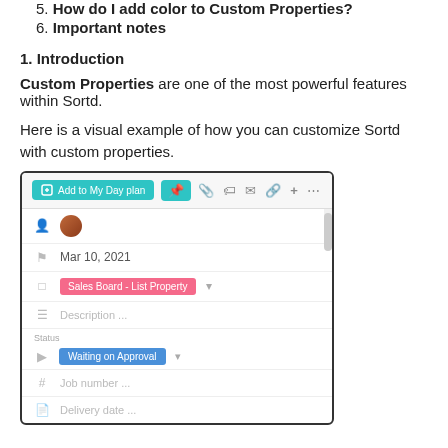5. How do I add color to Custom Properties?
6. Important notes
1. Introduction
Custom Properties are one of the most powerful features within Sortd.
Here is a visual example of how you can customize Sortd with custom properties.
[Figure (screenshot): Screenshot of Sortd application UI showing a task panel with 'Add to My Day plan' button, user avatar, date Mar 10 2021, Sales Board - List Property tag, Description field, Status with 'Waiting on Approval' badge, Job number field, and Delivery date field.]